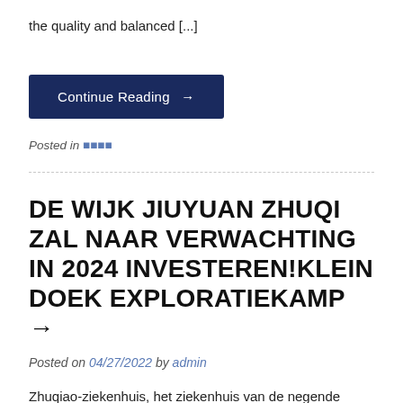the quality and balanced [...]
Continue Reading →
Posted in 🀫🀫🀫🀫
DE WIJK JIUYUAN ZHUQI ZAL NAAR VERWACHTING IN 2024 INVESTEREN!KLEIN DOEK EXPLORATIEKAMP →
Posted on 04/27/2022 by admin
Zhuqiao-ziekenhuis, het ziekenhuis van de negende wijk, de Medical College, en Changsha's International...